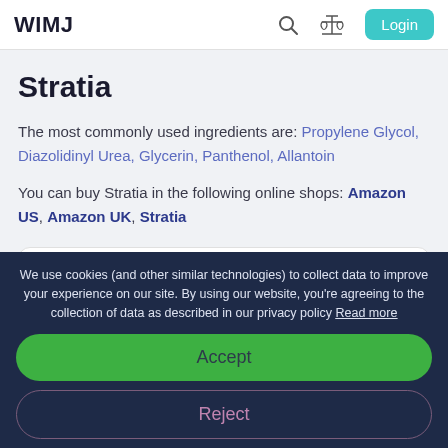WIMJ
Stratia
The most commonly used ingredients are: Propylene Glycol, Diazolidinyl Urea, Glycerin, Panthenol, Allantoin
You can buy Stratia in the following online shops: Amazon US, Amazon UK, Stratia
Search by product name or brand
We use cookies (and other similar technologies) to collect data to improve your experience on our site. By using our website, you’re agreeing to the collection of data as described in our privacy policy Read more
Accept
Reject